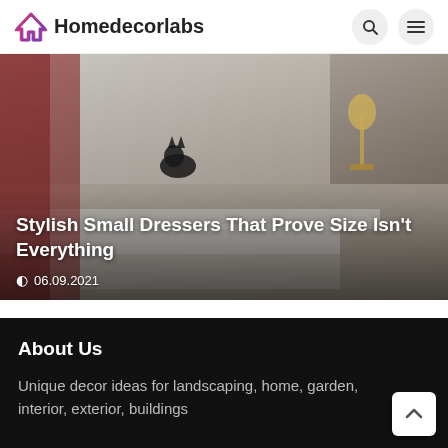Homedecorlabs
[Figure (photo): Hero image of small dressers on a shelf with a black cat silhouette and brass lamp. Overlay text reads 'Stylish Small Dressers That Prove Size Isn't Everything' with date 06.09.2021]
Stylish Small Dressers That Prove Size Isn't Everything
06.09.2021
About Us
Unique decor ideas for landscaping, home, garden, interior, exterior, buildings